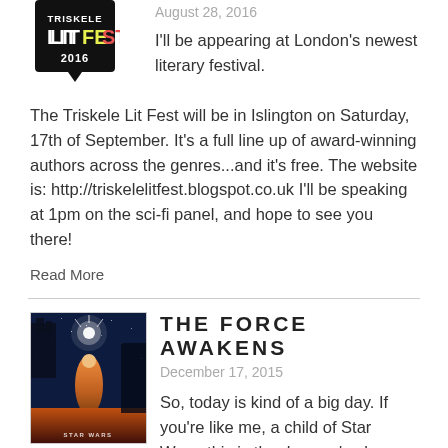[Figure (logo): Triskele LitFest 2016 logo — black speech bubble shape with TRISKELE in white, LIT in white, FEST in green/red, 2016 in white below]
August 28, 2016
I'll be appearing at London's newest literary festival. The Triskele Lit Fest will be in Islington on Saturday, 17th of September. It's a full line up of award-winning authors across the genres...and it's free. The website is: http://triskelelitfest.blogspot.co.uk  I'll be speaking at 1pm on the sci-fi panel, and hope to see you there!
Read More
[Figure (illustration): Star Wars: The Force Awakens movie poster — dark blue/purple space scene with central figure and lightsaber glow, orange/warm tones at bottom]
THE FORCE AWAKENS
December 17, 2015
So, today is kind of a big day. If you're like me, a child of Star Wars, this is the day you've been waiting for since the mid 80's. I